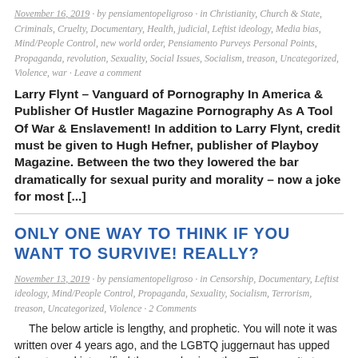November 16, 2019 · by pensiamentopeligroso · in Christianity, Church & State, Criminals, Cruelty, Documentary, Health, judicial, Leftist ideology, Media bias, Mind/People Control, new world order, Pensiamento Purveys Personal Points, Propaganda, revolution, Sexuality, Social Issues, Socialism, treason, Uncategorized, Violence, war · Leave a comment
Larry Flynt – Vanguard of Pornography In America & Publisher Of Hustler Magazine Pornography As A Tool Of War & Enslavement! In addition to Larry Flynt, credit must be given to Hugh Hefner, publisher of Playboy Magazine. Between the two they lowered the bar dramatically for sexual purity and morality – now a joke for most [...]
ONLY ONE WAY TO THINK IF YOU WANT TO SURVIVE! REALLY?
November 13, 2019 · by pensiamentopeligroso · in Censorship, Documentary, Leftist ideology, Mind/People Control, Propaganda, Sexuality, Socialism, Terrorism, treason, Uncategorized, Violence · 2 Comments
The below article is lengthy, and prophetic. You will note it was written over 4 years ago, and the LGBTQ juggernaut has upped the ante and intensified the agenda since then. They won't stop